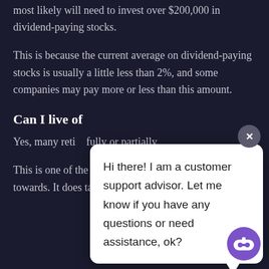most likely will need to invest over $200,000 in dividend-paying stocks.
This is because the current average on dividend-paying stocks is usually a little less than 2%, and some companies may pay more or less than this amount.
Can I live of
Yes, many reti... fully or partially.
This is one of the best passive income ideas to towards. It does take money to start, but this is
[Figure (screenshot): Customer support chat popup with close button (x) and bot icon. Chat message reads: Hi there! I am a customer support advisor. Let me know if you have any questions or need assistance, ok?]